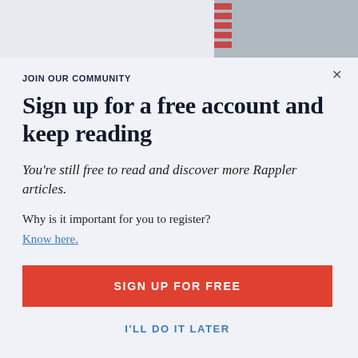[Figure (photo): Partial photo of a person at top right with red graphic element]
JOIN OUR COMMUNITY
Sign up for a free account and keep reading
You're still free to read and discover more Rappler articles.
Why is it important for you to register?
Know here.
SIGN UP FOR FREE
I'LL DO IT LATER